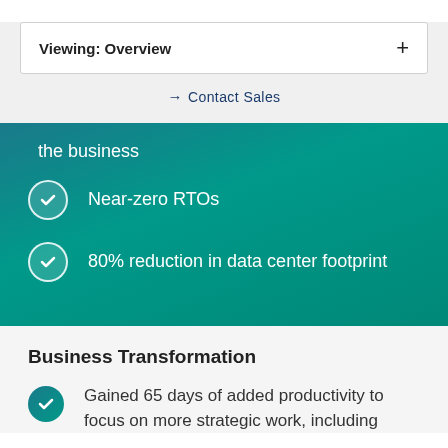Viewing: Overview
→ Contact Sales
the business
Near-zero RTOs
80% reduction in data center footprint
Business Transformation
Gained 65 days of added productivity to focus on more strategic work, including